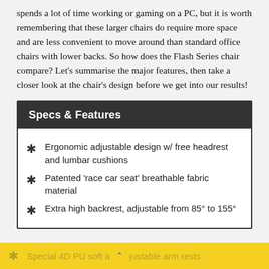spends a lot of time working or gaming on a PC, but it is worth remembering that these larger chairs do require more space and are less convenient to move around than standard office chairs with lower backs. So how does the Flash Series chair compare? Let's summarise the major features, then take a closer look at the chair's design before we get into our results!
Specs & Features
Ergonomic adjustable design w/ free headrest and lumbar cushions
Patented 'race car seat' breathable fabric material
Extra high backrest, adjustable from 85° to 155°
Special 4D PU soft adjustable arm rests